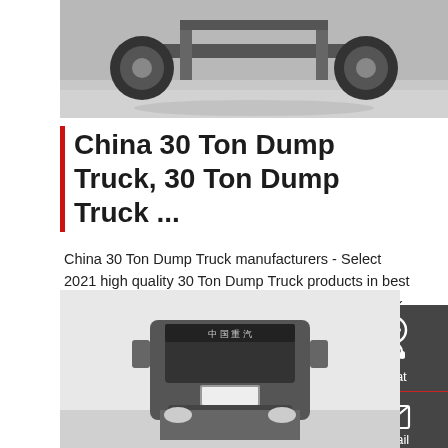[Figure (photo): Top view of truck undercarriage/axle area on grey pavement]
China 30 Ton Dump Truck, 30 Ton Dump Truck ...
China 30 Ton Dump Truck manufacturers - Select 2021 high quality 30 Ton Dump Truck products in best price from certified Chinese Truck, Heavy Duty Truck suppliers, wholesalers and factory on Made-in-China.com
[Figure (photo): Front cab view of Chinese heavy duty dump truck]
Get a Quote